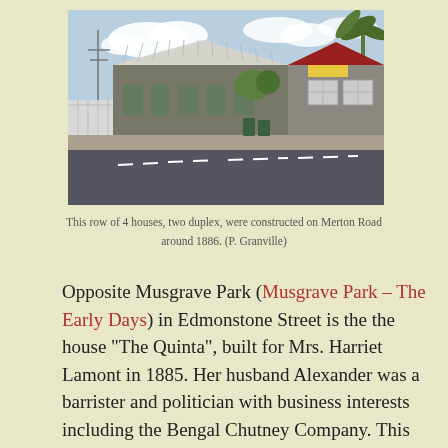[Figure (photo): Street-level photograph of a row of 4 houses on Merton Road, two duplex style, with corrugated iron roofs, set along a wide road, blue sky with clouds in background.]
This row of 4 houses, two duplex, were constructed on Merton Road around 1886. (P. Granville)
Opposite Musgrave Park (Musgrave Park – The Early Days) in Edmonstone Street is the the house "The Quinta", built for Mrs. Harriet Lamont in 1885. Her husband Alexander was a barrister and politician with business interests including the Bengal Chutney Company. This was one of many homes built in South Brisbane when the "Bridge Lands" used to finance the Victoria Bridge were finally